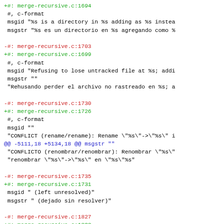+#: merge-recursive.c:1694
 #, c-format
 msgid "%s is a directory in %s adding as %s instea
 msgstr "%s es un directorio en %s agregando como %
-#: merge-recursive.c:1703
+#: merge-recursive.c:1699
 #, c-format
 msgid "Refusing to lose untracked file at %s; addi
 msgstr ""
 "Rehusando perder el archivo no rastreado en %s; a
-#: merge-recursive.c:1730
+#: merge-recursive.c:1726
 #, c-format
 msgid ""
 "CONFLICT (rename/rename): Rename \"%s\"->\"%s\" i
@@ -5111,18 +5134,18 @@ msgstr ""
 "CONFLICTO (renombrar/renombrar): Renombrar \"%s\"
 "renombrar \"%s\"->\"%%s\" en \"%s\"%s"
-#: merge-recursive.c:1735
+#: merge-recursive.c:1731
 msgid " (left unresolved)"
 msgstr " (dejado sin resolver)"
-#: merge-recursive.c:1827
+#: merge-recursive.c:1823
 #, c-format
 msgid "CONFLICT (rename/rename): Rename %s->%s in